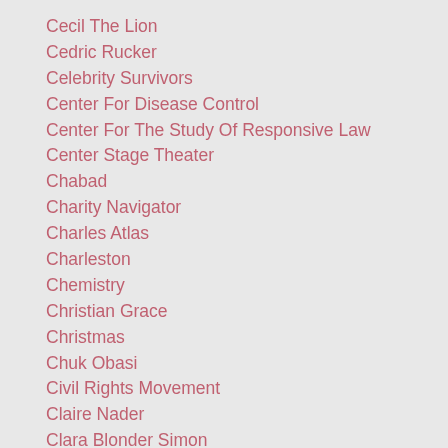Cecil The Lion
Cedric Rucker
Celebrity Survivors
Center For Disease Control
Center For The Study Of Responsive Law
Center Stage Theater
Chabad
Charity Navigator
Charles Atlas
Charleston
Chemistry
Christian Grace
Christmas
Chuk Obasi
Civil Rights Movement
Claire Nader
Clara Blonder Simon
Cleveland Clinic
CNN